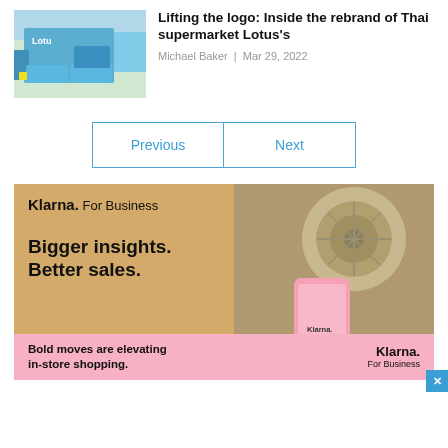[Figure (photo): Thumbnail image of Lotus's supermarket exterior with blue delivery trucks]
Lifting the logo: Inside the rebrand of Thai supermarket Lotus's
Michael Baker  |  Mar 29, 2022
Previous
Next
[Figure (photo): Klarna For Business advertisement. Shows text: Bigger insights. Better sales. With a pink smartphone showing Klarna branding, and a fan in the background.]
Bold moves are elevating in-store shopping.
Klarna. For Business